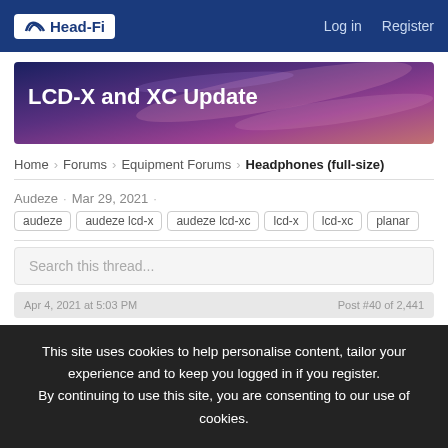Head-Fi | Log in | Register
[Figure (illustration): Head-Fi website banner with purple/pink gradient background and title 'LCD-X and XC Update' in white bold text]
LCD-X and XC Update
Home · Forums · Equipment Forums · Headphones (full-size)
Audeze · Mar 29, 2021 ·
audeze
audeze lcd-x
audeze lcd-xc
lcd-x
lcd-xc
planar
Search this thread...
This site uses cookies to help personalise content, tailor your experience and to keep you logged in if you register. By continuing to use this site, you are consenting to our use of cookies.